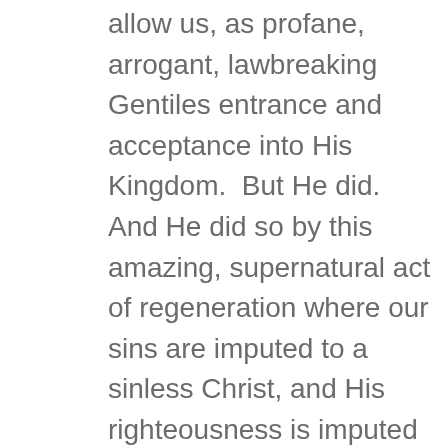allow us, as profane, arrogant, lawbreaking Gentiles entrance and acceptance into His Kingdom.  But He did.  And He did so by this amazing, supernatural act of regeneration where our sins are imputed to a sinless Christ, and His righteousness is imputed to us, who are anything but righteous (Isa. 64:6).
It was all done, by grace, through Christ.  This means everything we are, everything we hoped to be, any